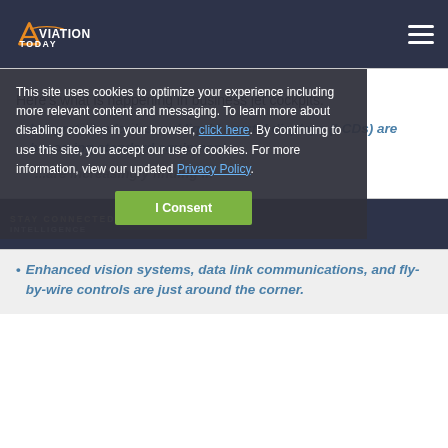Aviation Today
Here’s what is happening in business jet cockpits:
Integrated avionics and liquid crystal displays (LCDs) are becoming standard equipment.
This site uses cookies to optimize your experience including more relevant content and messaging. To learn more about disabling cookies in your browser, click here. By continuing to use this site, you accept our use of cookies. For more information, view our updated Privacy Policy.
[Figure (screenshot): Advertisement banner with dark blue background and text: STAY CONNECTED, STAY INFORMED. INTELLIGENCE]
Enhanced vision systems, data link communications, and fly-by-wire controls are just around the corner.